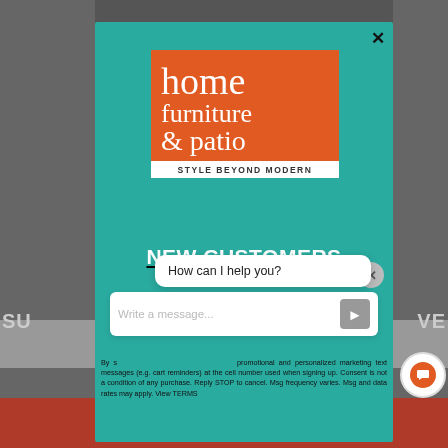[Figure (screenshot): Home Furniture & Patio website screenshot with a modal popup and chat widget overlay. The modal shows the brand logo on a teal background with promotional text 'NEW CUSTOMERS AUGUST SALE BEGIN NOW !!' and legal fine print. A chat bubble says 'How can I help you?' with a message input field.]
home furniture & patio
STYLE BEYOND MODERN
NEW CUSTOMERS
AUGUST SALE
BEGIN NOW !!
How can I help you?
Write a message...
By s... promotional and personalized marketing text messages (e.g. cart reminders) at the cell number used when signing up. Consent is not a condition of any purchase. Reply STOP to cancel. Msg frequency varies. Msg and data rates may apply. View TERMS